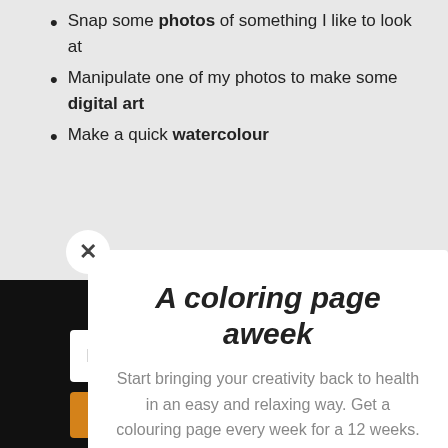Snap some photos of something I like to look at
Manipulate one of my photos to make some digital art
Make a quick watercolour
A coloring page aweek
Start bringing your creativity back to health in an easy and relaxing way. Get a colouring page every week for a 12 weeks.
Email
Send me the first page
Share This